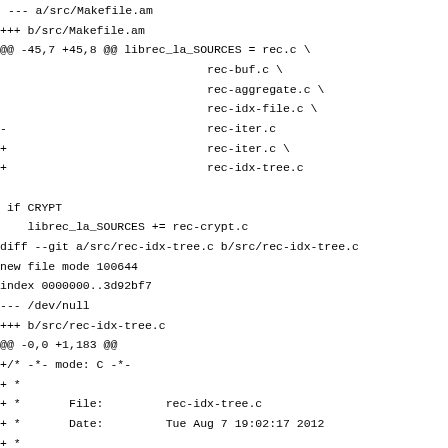--- a/src/Makefile.am
+++ b/src/Makefile.am
@@ -45,7 +45,8 @@ librec_la_SOURCES = rec.c \
                              rec-buf.c \
                              rec-aggregate.c \
                              rec-idx-file.c \
-                             rec-iter.c
+                             rec-iter.c \
+                             rec-idx-tree.c

 if CRYPT
    librec_la_SOURCES += rec-crypt.c
diff --git a/src/rec-idx-tree.c b/src/rec-idx-tree.c
new file mode 100644
index 0000000..3d92bf7
--- /dev/null
+++ b/src/rec-idx-tree.c
@@ -0,0 +1,183 @@
+/* -*- mode: C -*-
+ *
+ *       File:         rec-idx-tree.c
+ *       Date:         Tue Aug 7 19:02:17 2012
+ *
+ *       GNU recutils - Index trees
+ *
+ */
+
+/* Copyright (C) 2012 Michał Masłowski */
+
+/* This program is free software; you can redistribute